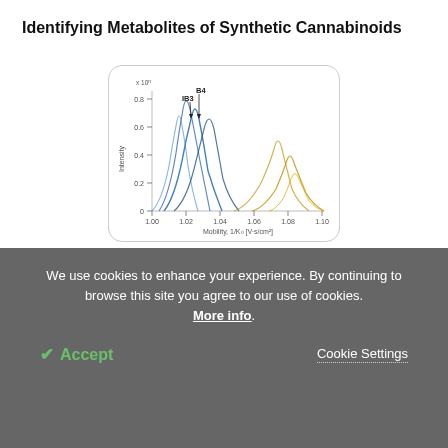Identifying Metabolites of Synthetic Cannabinoids
[Figure (continuous-plot): Ion mobility spectrum chart showing overlapping peaks for synthetic cannabinoid metabolites labeled B4 and IB3. X-axis: Mobility, 1/K0 [V·s/cm²] ranging from 1.00 to 1.10. Y-axis: Intensity x10^n ranging from 0 to 0.8. Multiple blue and gold/yellow peaks are shown.]
Ion Mobility Can Separate Designer Drug Metabolites
[Figure (photo): Partial view of an industrial or laboratory building exterior, showing cylindrical storage tanks and a reddish-brown door or panel.]
We use cookies to enhance your experience. By continuing to browse this site you agree to our use of cookies. More info.